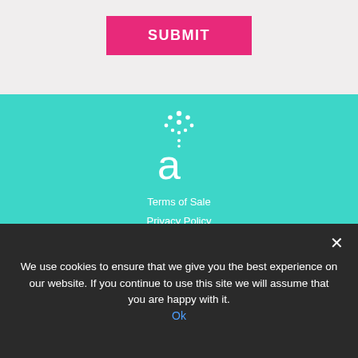[Figure (other): Pink/magenta Submit button on light grey background]
[Figure (logo): Aryballe technologies logo: white dots arranged above a white letter 'a' on teal background]
Terms of Sale
Privacy Policy
Patents
© 2021 Aryballe technologies
[Figure (logo): LinkedIn icon in white on teal background]
We use cookies to ensure that we give you the best experience on our website. If you continue to use this site we will assume that you are happy with it.
Ok